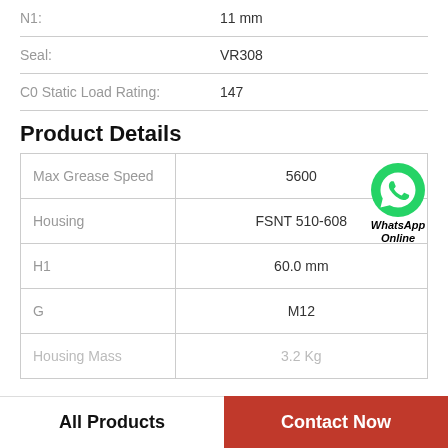N1: 11 mm
Seal: VR308
C0 Static Load Rating: 147
Product Details
|  |  |
| --- | --- |
| Max Grease Speed | 5600 |
| Housing | FSNT 510-608 |
| H1 | 60.0 mm |
| G | M12 |
| Housing Mass | 3.2 Kg |
[Figure (logo): WhatsApp Online green phone icon with text 'WhatsApp Online']
All Products    Contact Now